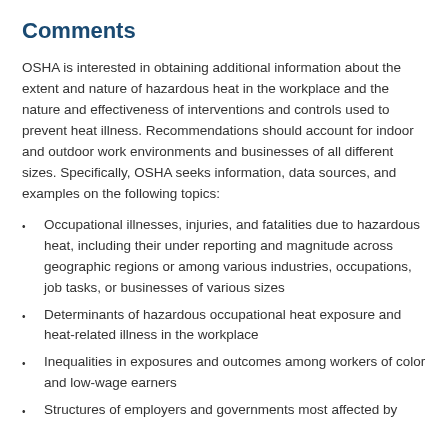Comments
OSHA is interested in obtaining additional information about the extent and nature of hazardous heat in the workplace and the nature and effectiveness of interventions and controls used to prevent heat illness. Recommendations should account for indoor and outdoor work environments and businesses of all different sizes. Specifically, OSHA seeks information, data sources, and examples on the following topics:
Occupational illnesses, injuries, and fatalities due to hazardous heat, including their under reporting and magnitude across geographic regions or among various industries, occupations, job tasks, or businesses of various sizes
Determinants of hazardous occupational heat exposure and heat-related illness in the workplace
Inequalities in exposures and outcomes among workers of color and low-wage earners
Structures of employers and governments most affected by...